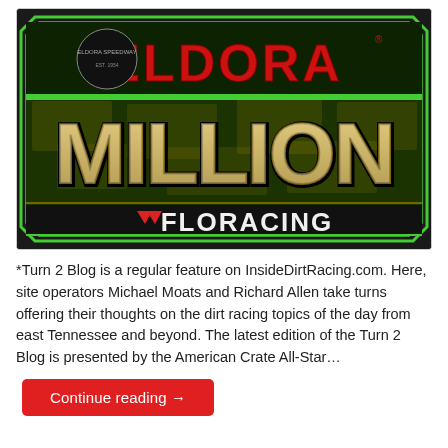[Figure (logo): Eldora Million presented by FloRacing logo — dark background with green border, large red 'ELDORA' text at top, massive gold/silver 'MILLION' text across center with money bill texture, and 'FloRacing' logo at bottom in white and red.]
*Turn 2 Blog is a regular feature on InsideDirtRacing.com. Here, site operators Michael Moats and Richard Allen take turns offering their thoughts on the dirt racing topics of the day from east Tennessee and beyond. The latest edition of the Turn 2 Blog is presented by the American Crate All-Star…
Continue reading →